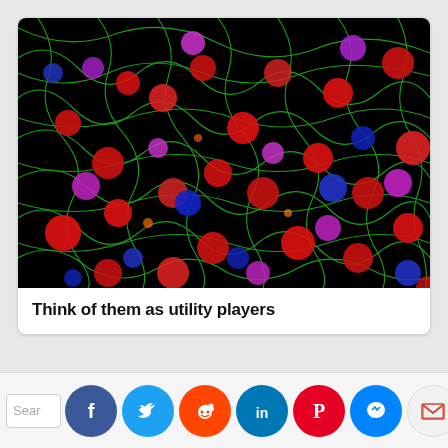[Figure (photo): Fluorescence microscopy image showing cells with red, purple/magenta, and blue nuclei against a black background with green network structures (likely cytoskeletal or vascular staining).]
Think of them as utility players
[Figure (infographic): Social media sharing bar with icons for Facebook, Twitter, Reddit, LinkedIn, Pinterest, Messenger, Gmail, and a share/upload button, plus a search box stub.]